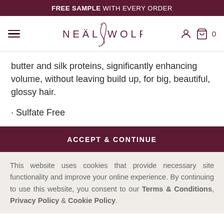FREE SAMPLE WITH EVERY ORDER
[Figure (logo): Neal & Wolf brand logo with stylized script ampersand and navigation icons (hamburger menu, user icon, cart with 0)]
butter and silk proteins, significantly enhancing volume, without leaving build up, for big, beautiful, glossy hair.
• Sulfate Free
ACCEPT & CONTINUE
This website uses cookies that provide necessary site functionality and improve your online experience. By continuing to use this website, you consent to our Terms & Conditions, Privacy Policy & Cookie Policy.